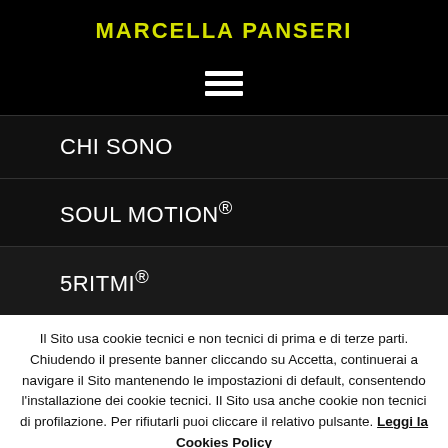MARCELLA PANSERI
[Figure (other): Hamburger menu icon (three horizontal white bars on black background)]
CHI SONO
SOUL MOTION®
5RITMI®
Il Sito usa cookie tecnici e non tecnici di prima e di terze parti. Chiudendo il presente banner cliccando su Accetta, continuerai a navigare il Sito mantenendo le impostazioni di default, consentendo l'installazione dei cookie tecnici. Il Sito usa anche cookie non tecnici di profilazione. Per rifiutarli puoi cliccare il relativo pulsante. Leggi la Cookies Policy